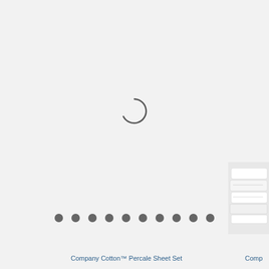[Figure (other): Loading spinner icon — a partial circle arc in dark gray indicating a loading state, centered on the upper portion of the page]
[Figure (other): Row of 10 dark gray circular dots serving as a pagination or carousel indicator]
[Figure (photo): Partial product photo visible at right edge — appears to be stacked white/cream bedding or sheet set]
Company Cotton™ Percale Sheet Set
Comp